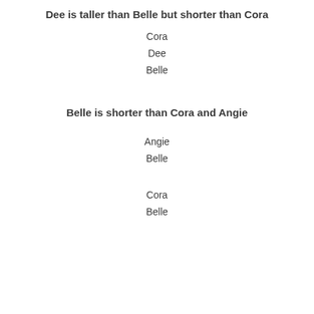Dee is taller than Belle but shorter than Cora
Cora
Dee
Belle
Belle is shorter than Cora and Angie
Angie
Belle
Cora
Belle